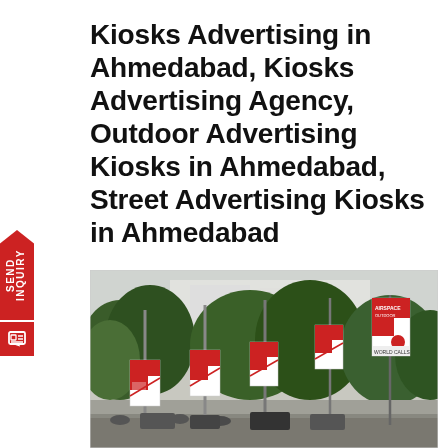Kiosks Advertising in Ahmedabad, Kiosks Advertising Agency, Outdoor Advertising Kiosks in Ahmedabad, Street Advertising Kiosks in Ahmedabad
[Figure (photo): Street scene showing advertising kiosks/banners mounted on poles along a road in Ahmedabad, with trees and buildings in the background. The kiosks display red and white advertisements.]